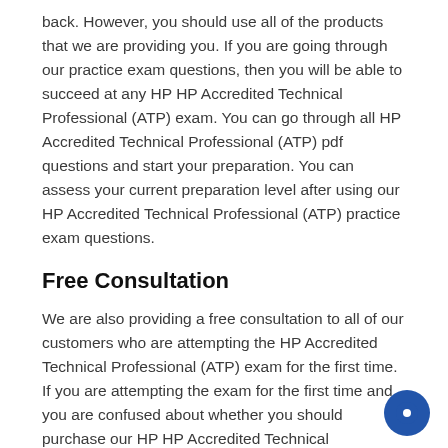back. However, you should use all of the products that we are providing you. If you are going through our practice exam questions, then you will be able to succeed at any HP HP Accredited Technical Professional (ATP) exam. You can go through all HP Accredited Technical Professional (ATP) pdf questions and start your preparation. You can assess your current preparation level after using our HP Accredited Technical Professional (ATP) practice exam questions.
Free Consultation
We are also providing a free consultation to all of our customers who are attempting the HP Accredited Technical Professional (ATP) exam for the first time. If you are attempting the exam for the first time and you are confused about whether you should purchase our HP HP Accredited Technical Professional (ATP) exam dumps or not, then we can offer you a free consultation. We have experts who are creating excellent braindumps for any HP HP Accredited